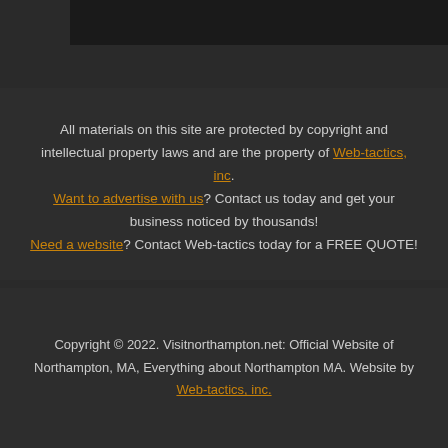[Figure (other): Dark header image block at top of page]
All materials on this site are protected by copyright and intellectual property laws and are the property of Web-tactics, inc. Want to advertise with us? Contact us today and get your business noticed by thousands! Need a website? Contact Web-tactics today for a FREE QUOTE!
Copyright © 2022. Visitnorthampton.net: Official Website of Northampton, MA, Everything about Northampton MA. Website by Web-tactics, inc.